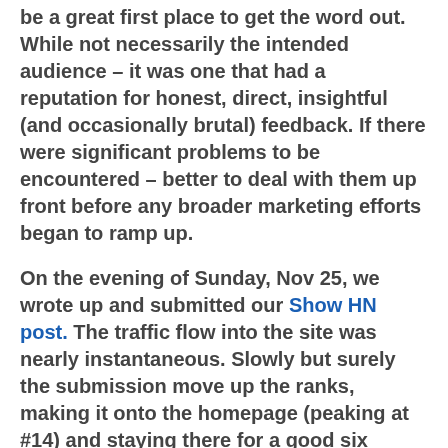be a great first place to get the word out.  While not necessarily the intended audience – it was one that had a reputation for honest, direct, insightful (and occasionally brutal) feedback.  If there were significant problems to be encountered – better to deal with them up front before any broader marketing efforts began to ramp up.
On the evening of Sunday, Nov 25, we wrote up and submitted our Show HN post.  The traffic flow into the site was nearly instantaneous.  Slowly but surely the submission move up the ranks, making it onto the homepage (peaking at #14) and staying there for a good six hours or